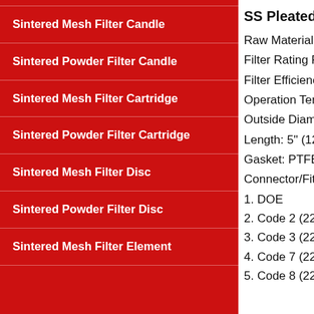Sintered Mesh Filter Candle
Sintered Powder Filter Candle
Sintered Mesh Filter Cartridge
Sintered Powder Filter Cartridge
Sintered Mesh Filter Disc
Sintered Powder Filter Disc
Sintered Mesh Filter Element
SS Pleated Mes…
Raw Material: S…
Filter Rating Ran…
Filter Efficiency:…
Operation Temp…
Outside Diamete…
Length: 5" (127…
Gasket: PTFE, V…
Connector/Fittin…
1. DOE
2. Code 2 (226+…
3. Code 3 (222+…
4. Code 7 (226+…
5. Code 8 (222+…